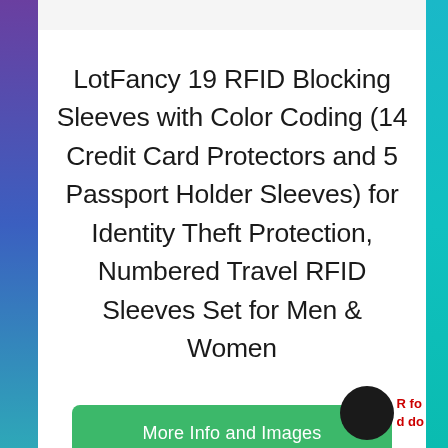LotFancy 19 RFID Blocking Sleeves with Color Coding (14 Credit Card Protectors and 5 Passport Holder Sleeves) for Identity Theft Protection, Numbered Travel RFID Sleeves Set for Men & Women
More Info and Images